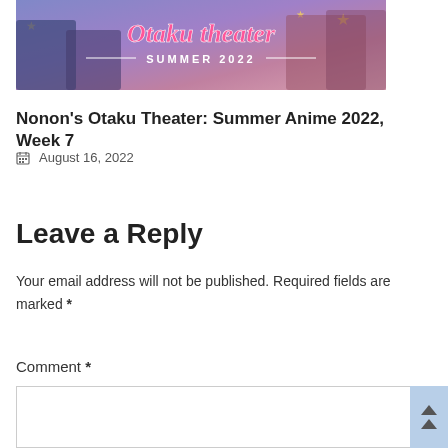[Figure (illustration): Otaku Theater Summer 2022 banner image with anime characters in cosplay, pink cursive title text 'Otaku Theater' and subtitle 'SUMMER 2022']
Nonon's Otaku Theater: Summer Anime 2022, Week 7
August 16, 2022
Leave a Reply
Your email address will not be published. Required fields are marked *
Comment *